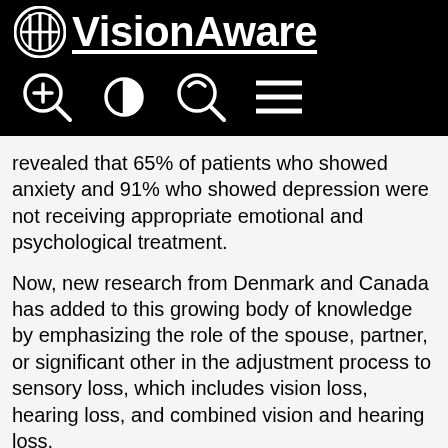APH VisionAware
revealed that 65% of patients who showed anxiety and 91% who showed depression were not receiving appropriate emotional and psychological treatment.
Now, new research from Denmark and Canada has added to this growing body of knowledge by emphasizing the role of the spouse, partner, or significant other in the adjustment process to sensory loss, which includes vision loss, hearing loss, and combined vision and hearing loss.
According to the authors, “the results highlight the need to support the well-being of adults with sensory loss and their spouses in rehabilitation, and the importance of both